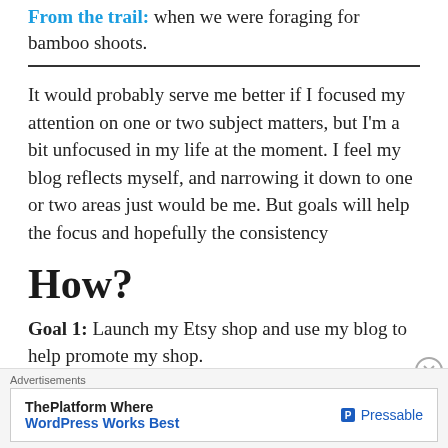From the trail: when we were foraging for bamboo shoots.
It would probably serve me better if I focused my attention on one or two subject matters, but I'm a bit unfocused in my life at the moment. I feel my blog reflects myself, and narrowing it down to one or two areas just would be me. But goals will help the focus and hopefully the consistency
How?
Goal 1: Launch my Etsy shop and use my blog to help promote my shop.
Advertisements
[Figure (other): Advertisement banner for Pressable: 'ThePlatform Where WordPress Works Best']